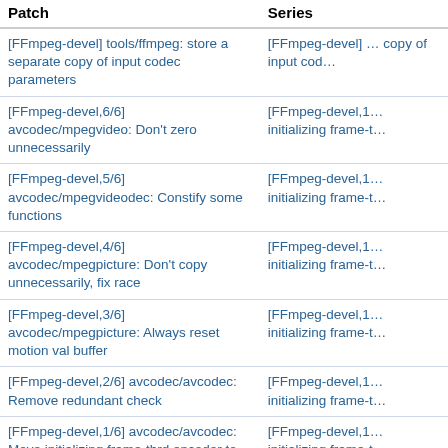| Patch | Series |
| --- | --- |
| [FFmpeg-devel] tools/ffmpeg: store a separate copy of input codec parameters | [FFmpeg-devel] ... copy of input cod... |
| [FFmpeg-devel,6/6] avcodec/mpegvideo: Don't zero unnecessarily | [FFmpeg-devel,1... initializing frame-t... |
| [FFmpeg-devel,5/6] avcodec/mpegvideodec: Constify some functions | [FFmpeg-devel,1... initializing frame-t... |
| [FFmpeg-devel,4/6] avcodec/mpegpicture: Don't copy unnecessarily, fix race | [FFmpeg-devel,1... initializing frame-t... |
| [FFmpeg-devel,3/6] avcodec/mpegpicture: Always reset motion val buffer | [FFmpeg-devel,1... initializing frame-t... |
| [FFmpeg-devel,2/6] avcodec/avcodec: Remove redundant check | [FFmpeg-devel,1... initializing frame-t... |
| [FFmpeg-devel,1/6] avcodec/avcodec: Move initializing frame-thrd encoder to encode_preinit | [FFmpeg-devel,1... initializing frame-t... |
| [FFmpeg-devel] tools/target_dec_fuzzer: Adjust threshold for NUV | [FFmpeg-devel] t... threshold for NUV |
| [FFmpeg-devel,v1,3/3] lavc/vaapi_vp9: add surface internal re-allocation capability | [FFmpeg-devel,v... get_hw_config fu... |
| [FFmpeg-devel,v1,2/3] lavc/decode: Add internal surface re-allocate method for hwaccel | [FFmpeg-devel,v... get_hw_config fu... |